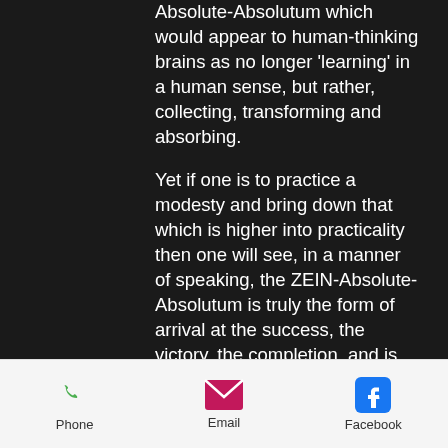Absolute-Absolutum which would appear to human-thinking brains as no longer 'learning' in a human sense, but rather, collecting, transforming and absorbing.

Yet if one is to practice a modesty and bring down that which is higher into practicality then one will see, in a manner of speaking, the ZEIN-Absolute-Absolutum is truly the form of arrival at the success, the victory, the completion, and is simply just in the act of streamlined-doing. What is to be said here is that the human being can also see this in their own practical and lower thinking as can be an example with, after failing tests repeatedly, the human being eventually scores a perfect and
[Figure (other): Mobile app footer navigation bar with Phone (green phone icon), Email (pink envelope icon), and Facebook (blue Facebook icon) buttons]